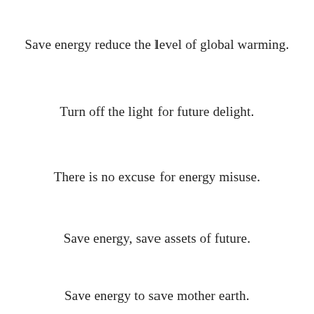Save energy reduce the level of global warming.
Turn off the light for future delight.
There is no excuse for energy misuse.
Save energy, save assets of future.
Save energy to save mother earth.